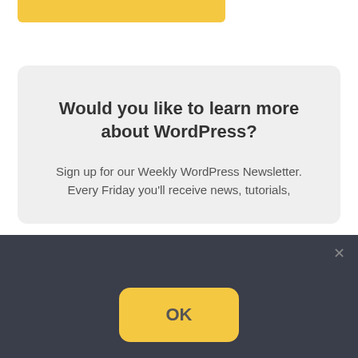[Figure (screenshot): Yellow button strip at the top of the page background]
Would you like to learn more about WordPress?
Sign up for our Weekly WordPress Newsletter.
Every Friday you'll receive news, tutorials,
We use cookies to ensure that we give you the best experience on our website. If you continue to use this site we will assume that you are happy with it.
OK